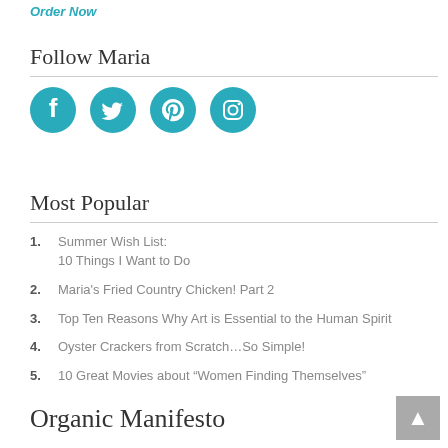Order Now
Follow Maria
[Figure (illustration): Four social media icons: Facebook, Twitter, Pinterest, Instagram — teal circular icons]
Most Popular
1. Summer Wish List: 10 Things I Want to Do
2. Maria's Fried Country Chicken! Part 2
3. Top Ten Reasons Why Art is Essential to the Human Spirit
4. Oyster Crackers from Scratch...So Simple!
5. 10 Great Movies about “Women Finding Themselves”
Organic Manifesto